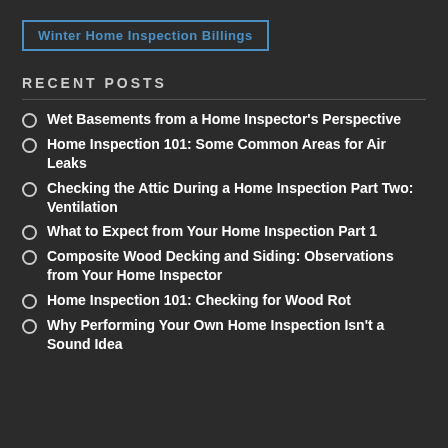Winter Home Inspection Billings
RECENT POSTS
Wet Basements from a Home Inspector's Perspective
Home Inspection 101: Some Common Areas for Air Leaks
Checking the Attic During a Home Inspection Part Two: Ventilation
What to Expect from Your Home Inspection Part 1
Composite Wood Decking and Siding: Observations from Your Home Inspector
Home Inspection 101: Checking for Wood Rot
Why Performing Your Own Home Inspection Isn't a Sound Idea